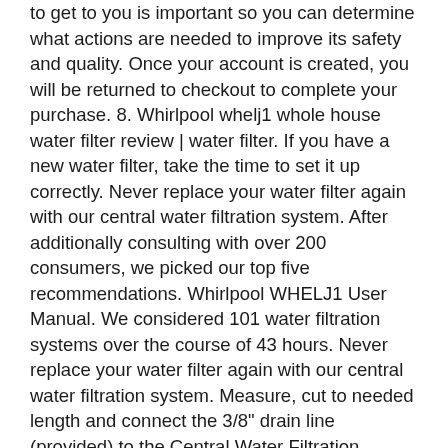to get to you is important so you can determine what actions are needed to improve its safety and quality. Once your account is created, you will be returned to checkout to complete your purchase. 8. Whirlpool whelj1 whole house water filter review | water filter. If you have a new water filter, take the time to set it up correctly. Never replace your water filter again with our central water filtration system. After additionally consulting with over 200 consumers, we picked our top five recommendations. Whirlpool WHELJ1 User Manual. We considered 101 water filtration systems over the course of 43 hours. Never replace your water filter again with our central water filtration system. Measure, cut to needed length and connect the 3/8" drain line (provided) to the Central Water Filtration System valve drain fitting (See Figure 4). To insert the new filter in the slot, line it up with the grooves, push in and turn it to the right. Many of our undersink filtration systems reduce lead as well as other contaminants to help keep you and your family safe. Sign In. 10. 1. The RO system can stand in the sink cabinet without mounting, this makes future filter change easy